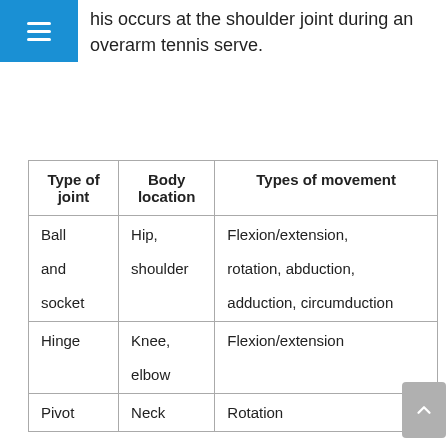his occurs at the shoulder joint during an overarm tennis serve.
| Type of joint | Body location | Types of movement |
| --- | --- | --- |
| Ball and socket | Hip, shoulder | Flexion/extension, rotation, abduction, adduction, circumduction |
| Hinge | Knee, elbow | Flexion/extension |
| Pivot | Neck | Rotation |